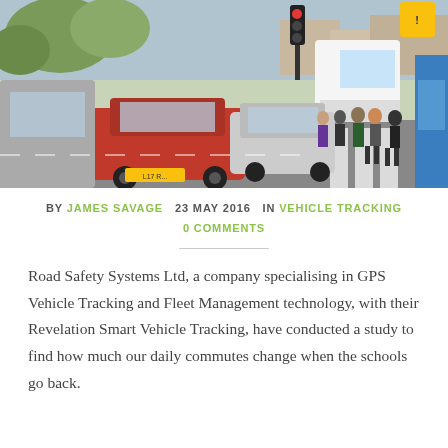[Figure (photo): Street scene showing cars queued at a zebra crossing while school children cross the road, with a white bus in the background and traffic signals visible. Blue bus on right edge.]
BY JAMES SAVAGE   23 MAY 2016   IN VEHICLE TRACKING
0 COMMENTS
Road Safety Systems Ltd, a company specialising in GPS Vehicle Tracking and Fleet Management technology, with their Revelation Smart Vehicle Tracking, have conducted a study to find how much our daily commutes change when the schools go back.